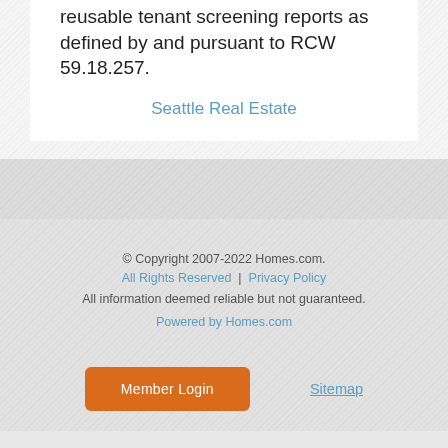reusable tenant screening reports as defined by and pursuant to RCW 59.18.257.
Seattle Real Estate
© Copyright 2007-2022 Homes.com. All Rights Reserved | Privacy Policy
All information deemed reliable but not guaranteed.
Powered by Homes.com
Member Login
Sitemap